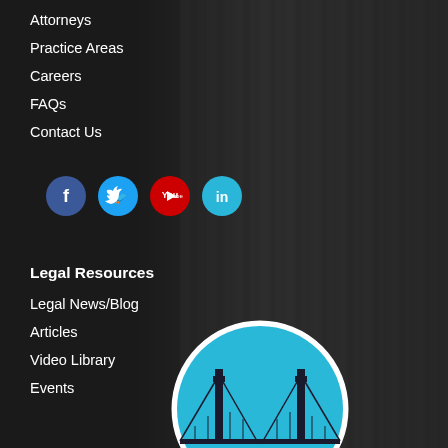Attorneys
Practice Areas
Careers
FAQs
Contact Us
[Figure (illustration): Social media icons: Facebook (blue circle), Twitter (light blue circle), YouTube (red circle), LinkedIn (cyan circle)]
Legal Resources
Legal News/Blog
Articles
Video Library
Events
[Figure (logo): Circular logo with light blue background showing a suspension bridge silhouette in dark color, with white circular border]